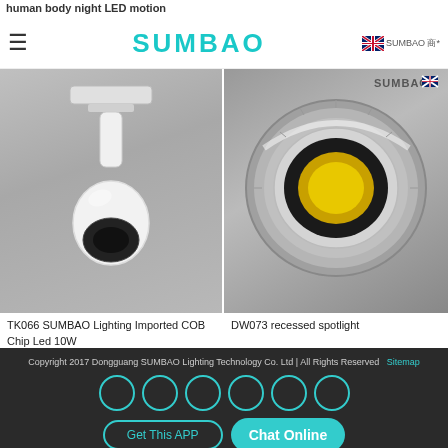human body night LED motion
[Figure (photo): Navigation header with hamburger menu icon, SUMBAO teal logo text, and UK flag with SUMBAO branding on right side]
[Figure (photo): White LED track spotlight - TK066 SUMBAO Lighting Imported COB Chip Led 10W]
TK066 SUMBAO Lighting Imported COB Chip Led 10W
[Figure (photo): Silver/chrome recessed spotlight - DW073 recessed spotlight, circular heat sink design viewed from top]
DW073 recessed spotlight
Copyright 2017 Dongguang SUMBAO Lighting Technology Co. Ltd | All Rights Reserved   Sitemap
Get This APP
Chat Online